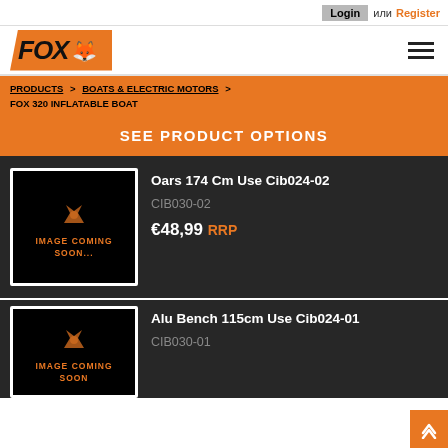Login или Register
[Figure (logo): FOX fishing brand logo with orange background and fox icon]
PRODUCTS > BOATS & ELECTRIC MOTORS > FOX 320 INFLATABLE BOAT
SEE PRODUCT OPTIONS
[Figure (photo): Product image placeholder - IMAGE COMING SOON with Fox logo]
Oars 174 Cm Use Cib024-02
CIB030-02
€48,99 RRP
[Figure (photo): Product image placeholder - IMAGE COMING SOON with Fox logo]
Alu Bench 115cm Use Cib024-01
CIB030-01